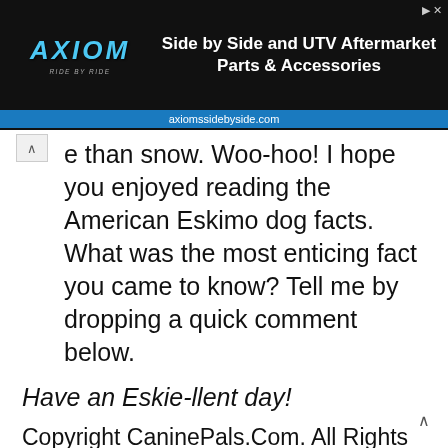[Figure (other): Advertisement banner for Axiom Side by Side and UTV Aftermarket Parts & Accessories. Shows AXIOM logo in blue italic text on dark background with URL axiomssidebyside.com on blue bar.]
e than snow. Woo-hoo! I hope you enjoyed reading the American Eskimo dog facts. What was the most enticing fact you came to know? Tell me by dropping a quick comment below.
Have an Eskie-llent day!
Copyright CaninePals.Com. All Rights Reserved.
References and Further Reading:
[1] American Kennel Club, American Eskimo